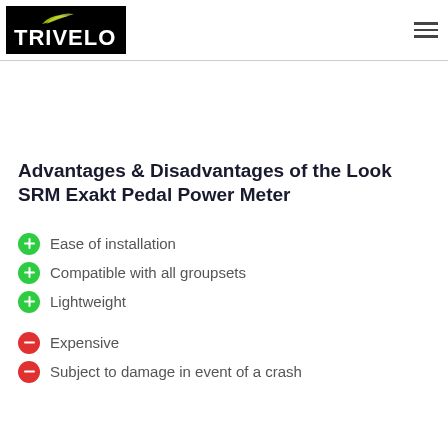TRIVELO
Advantages & Disadvantages of the Look SRM Exakt Pedal Power Meter
Ease of installation
Compatible with all groupsets
Lightweight
Expensive
Subject to damage in event of a crash